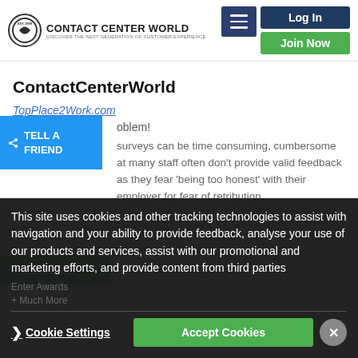ContactCenterWorld | Log In | Join Now
ContactCenterWorld
TopPlace2Work.com
...oblem!
surveys can be time consuming, cumbersome at many staff often don't provide valid feedback as they fear 'being too honest' with their employer for fear of retribution.
TELL A FRIEND
BECOME
This site uses cookies and other tracking technologies to assist with navigation and your ability to provide feedback, analyse your use of our products and services, assist with our promotional and marketing efforts, and provide content from third parties
Cookie Settings
Accept Cookies
Enter Awards
+ Much More